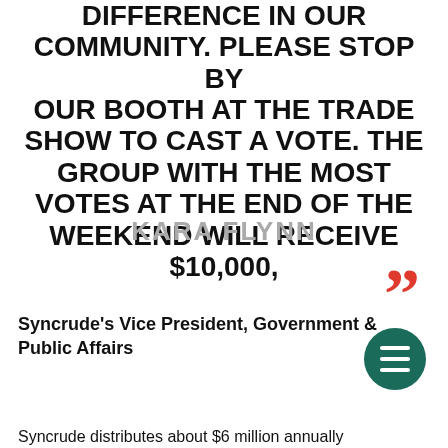DIFFERENCE IN OUR COMMUNITY. PLEASE STOP BY OUR BOOTH AT THE TRADE SHOW TO CAST A VOTE. THE GROUP WITH THE MOST VOTES AT THE END OF THE WEEKEND WILL RECEIVE $10,000,
KARA FLYNN
[Figure (illustration): Red closing quotation mark decorative element]
Syncrude's Vice President, Government & Public Affairs
[Figure (illustration): Dark green circular hamburger menu button with three white horizontal lines]
Syncrude distributes about $6 million annually